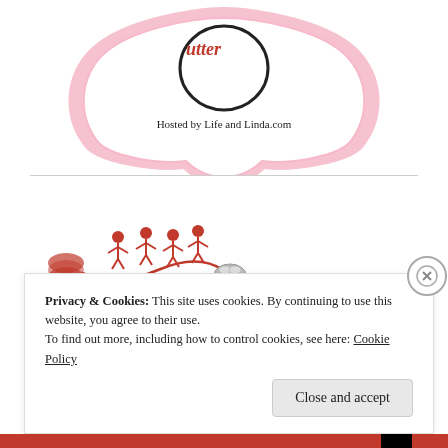[Figure (logo): Pink ornamental badge shape with cursive text and 'Hosted by Life and Linda.com' text inside]
[Figure (logo): PatternReview.com logo with stick figures and text 'Helping You SEW SMARTER – every day!']
Privacy & Cookies: This site uses cookies. By continuing to use this website, you agree to their use.
To find out more, including how to control cookies, see here: Cookie Policy
Close and accept